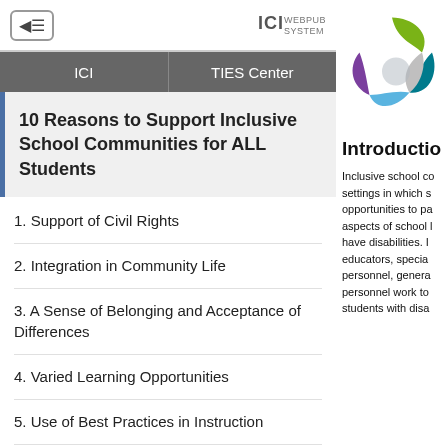ICI WEBPUB SYSTEM
ICI | TIES Center
10 Reasons to Support Inclusive School Communities for ALL Students
1. Support of Civil Rights
2. Integration in Community Life
3. A Sense of Belonging and Acceptance of Differences
4. Varied Learning Opportunities
5. Use of Best Practices in Instruction
[Figure (logo): TIES Center circular logo with four curved petals in green, teal, blue, purple, and gray]
Introductio
Inclusive school co settings in which s opportunities to pa aspects of school l have disabilities. I educators, specia personnel, genera personnel work to students with dis